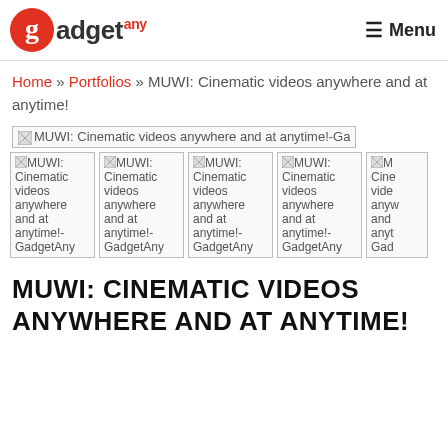gadgetany — Menu
Home » Portfolios » MUWI: Cinematic videos anywhere and at anytime!
[Figure (screenshot): Broken image placeholder for MUWI: Cinematic videos anywhere and at anytime!-GadgetAny]
[Figure (screenshot): Five broken image thumbnails each labeled MUWI: Cinematic videos anywhere and at anytime!-GadgetAny]
MUWI: CINEMATIC VIDEOS ANYWHERE AND AT ANYTIME!